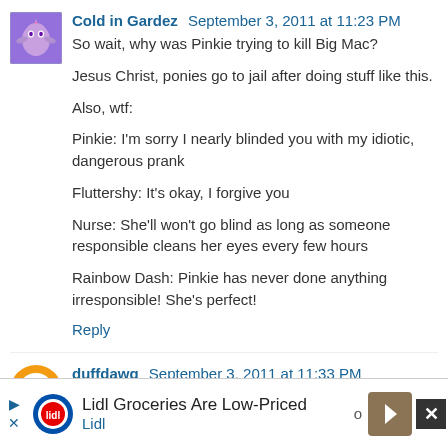Cold in Gardez  September 3, 2011 at 11:23 PM
So wait, why was Pinkie trying to kill Big Mac?

Jesus Christ, ponies go to jail after doing stuff like this.

Also, wtf:

Pinkie: I'm sorry I nearly blinded you with my idiotic, dangerous prank

Fluttershy: It's okay, I forgive you

Nurse: She'll won't go blind as long as someone responsible cleans her eyes every few hours

Rainbow Dash: Pinkie has never done anything irresponsible! She's perfect!
Reply
duffdawg  September 3, 2011 at 11:33 PM
[Figure (screenshot): Advertisement banner for Lidl Groceries with logo, text 'Lidl Groceries Are Low-Priced', navigation arrows, and close button]